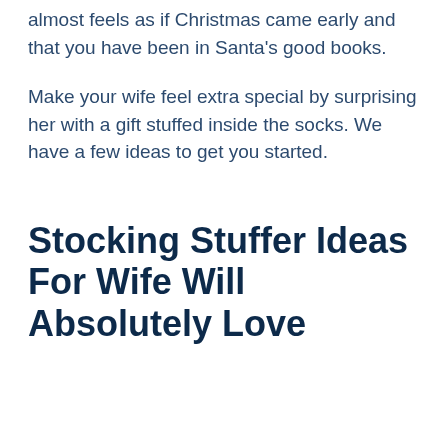almost feels as if Christmas came early and that you have been in Santa's good books.
Make your wife feel extra special by surprising her with a gift stuffed inside the socks. We have a few ideas to get you started.
Stocking Stuffer Ideas For Wife Will Absolutely Love